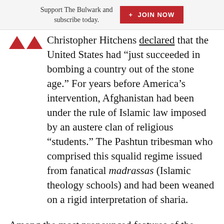Support The Bulwark and subscribe today.  + JOIN NOW
Christopher Hitchens declared that the United States had “just succeeded in bombing a country out of the stone age.” For years before America’s intervention, Afghanistan had been under the rule of Islamic law imposed by an austere clan of religious “students.” The Pashtun tribesman who comprised this squalid regime issued from fanatical madrassas (Islamic theology schools) and had been weaned on a rigid interpretation of sharia.
Among the most pronounced features of the Taliban’s backward state was the subjugation of